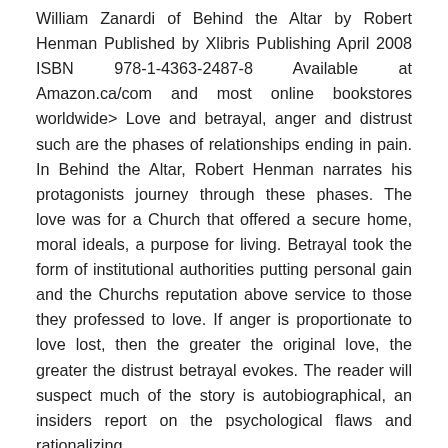William Zanardi of Behind the Altar by Robert Henman Published by Xlibris Publishing April 2008 ISBN 978-1-4363-2487-8 Available at Amazon.ca/com and most online bookstores worldwide> Love and betrayal, anger and distrust such are the phases of relationships ending in pain. In Behind the Altar, Robert Henman narrates his protagonists journey through these phases. The love was for a Church that offered a secure home, moral ideals, a purpose for living. Betrayal took the form of institutional authorities putting personal gain and the Churchs reputation above service to those they professed to love. If anger is proportionate to love lost, then the greater the original love, the greater the distrust betrayal evokes. The reader will suspect much of the story is autobiographical, an insiders report on the psychological flaws and rationalizing